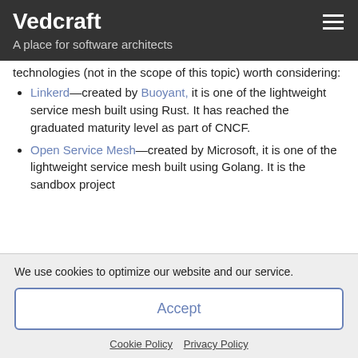Vedcraft
A place for software architects
technologies (not in the scope of this topic) worth considering:
Linkerd—created by Buoyant, it is one of the lightweight service mesh built using Rust. It has reached the graduated maturity level as part of CNCF.
Open Service Mesh—created by Microsoft, it is one of the lightweight service mesh built using Golang. It is the sandbox project
We use cookies to optimize our website and our service.
Accept
Cookie Policy   Privacy Policy